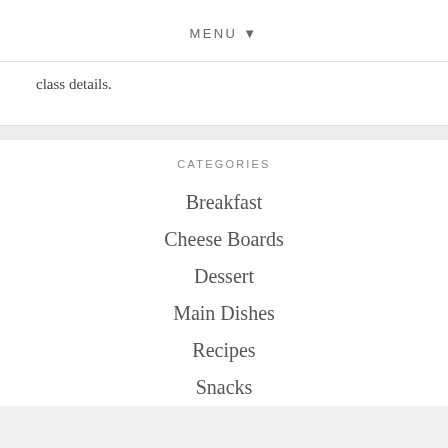MENU ▼
class details.
CATEGORIES
Breakfast
Cheese Boards
Dessert
Main Dishes
Recipes
Snacks